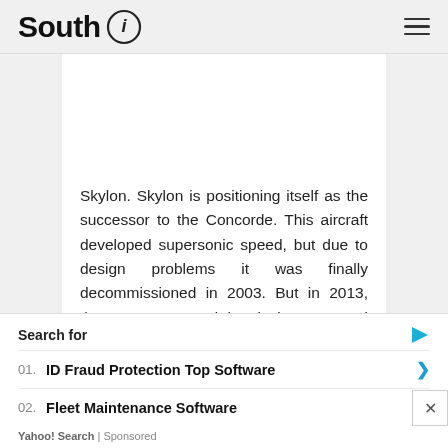South i
Skylon. Skylon is positioning itself as the successor to the Concorde. This aircraft developed supersonic speed, but due to design problems it was finally decommissioned in 2003. But in 2013, the UK announced its desire to spend more than $ 90 million on the development of
Search for
01. ID Fraud Protection Top Software
02. Fleet Maintenance Software
Yahoo! Search | Sponsored